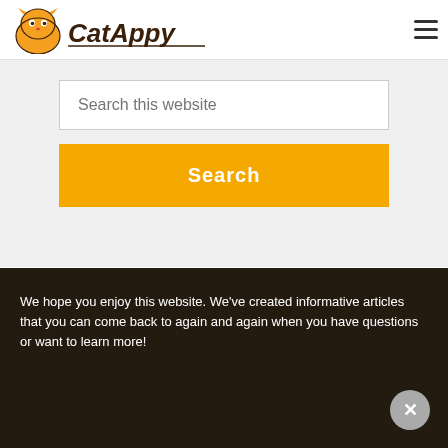CatAppy
Search this website
Search
We hope you enjoy this website. We've created informative articles that you can come back to again and again when you have questions or want to learn more!